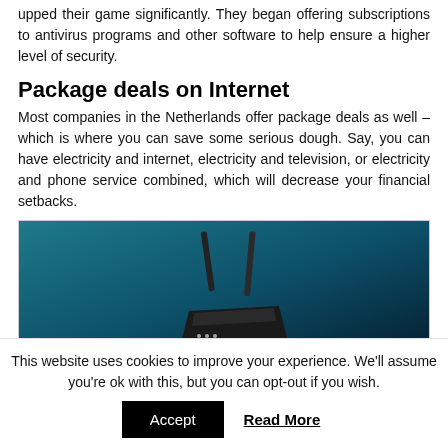upped their game significantly. They began offering subscriptions to antivirus programs and other software to help ensure a higher level of security.
Package deals on Internet
Most companies in the Netherlands offer package deals as well – which is where you can save some serious dough. Say, you can have electricity and internet, electricity and television, or electricity and phone service combined, which will decrease your financial setbacks.
[Figure (photo): A router or network device photographed against a teal/dark blue gradient background.]
This website uses cookies to improve your experience. We'll assume you're ok with this, but you can opt-out if you wish.